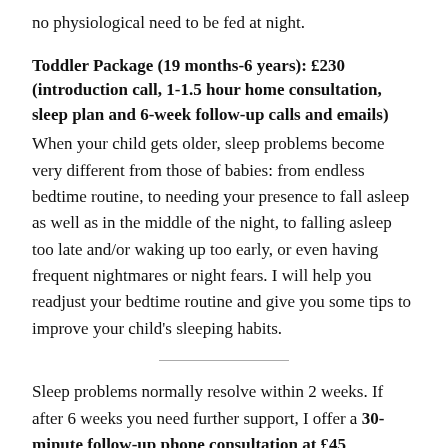no physiological need to be fed at night.
Toddler Package (19 months-6 years): £230 (introduction call, 1-1.5 hour home consultation, sleep plan and 6-week follow-up calls and emails)
When your child gets older, sleep problems become very different from those of babies: from endless bedtime routine, to needing your presence to fall asleep as well as in the middle of the night, to falling asleep too late and/or waking up too early, or even having frequent nightmares or night fears. I will help you readjust your bedtime routine and give you some tips to improve your child's sleeping habits.
Sleep problems normally resolve within 2 weeks. If after 6 weeks you need further support, I offer a 30-minute follow-up phone consultation at £45